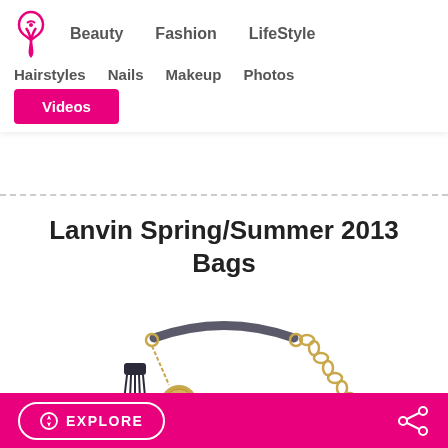Beauty  Fashion  LifeStyle  Hairstyles  Nails  Makeup  Photos  Videos
Lanvin Spring/Summer 2013 Bags
[Figure (photo): A Lanvin handbag with a chain strap, leather handle, tassel, and gold medallion charm on white background]
EXPLORE  [share icon]